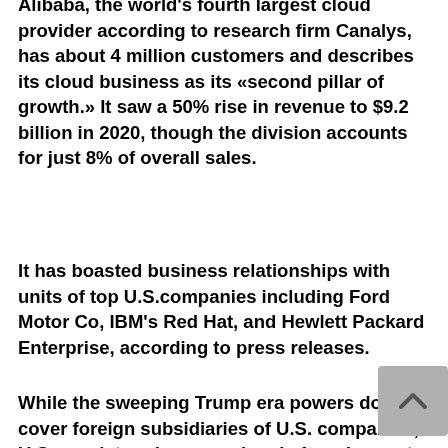Alibaba, the world's fourth largest cloud provider according to research firm Canalys, has about 4 million customers and describes its cloud business as its «second pillar of growth.» It saw a 50% rise in revenue to $9.2 billion in 2020, though the division accounts for just 8% of overall sales.
It has boasted business relationships with units of top U.S.companies including Ford Motor Co, IBM's Red Hat, and Hewlett Packard Enterprise, according to press releases.
While the sweeping Trump era powers don't cover foreign subsidiaries of U.S. companies, U.S. regulators have previously found ways to link them to their U.S.parent companies, which can in turn be subject to restrictions.